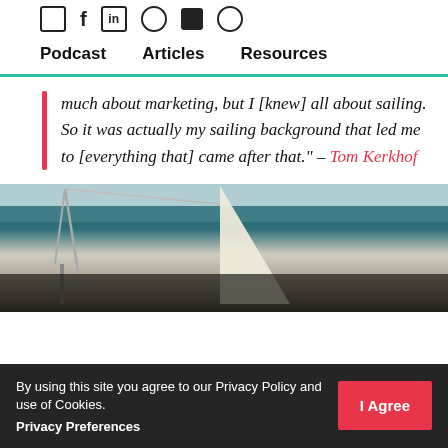Social media icons: email, facebook, linkedin, instagram, youtube, spotify
Podcast   Articles   Resources
much about marketing, but I [knew] all about sailing. So it was actually my sailing background that led me to [everything that] came after that." – Tom Kerkhof
[Figure (photo): Sailing boat photo showing rigging, ropes, sail and water in background]
By using this site you agree to our Privacy Policy and use of Cookies.
Privacy Preferences
I Agree